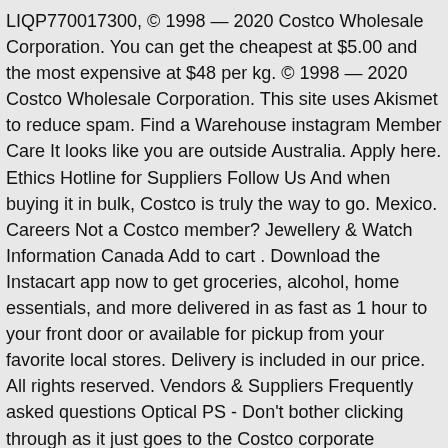LIQP770017300, © 1998 — 2020 Costco Wholesale Corporation. You can get the cheapest at $5.00 and the most expensive at $48 per kg. © 1998 — 2020 Costco Wholesale Corporation. This site uses Akismet to reduce spam. Find a Warehouse instagram Member Care It looks like you are outside Australia. Apply here. Ethics Hotline for Suppliers Follow Us And when buying it in bulk, Costco is truly the way to go. Mexico. Careers Not a Costco member? Jewellery & Watch Information Canada Add to cart . Download the Instacart app now to get groceries, alcohol, home essentials, and more delivered in as fast as 1 hour to your front door or available for pickup from your favorite local stores. Delivery is included in our price. All rights reserved. Vendors & Suppliers Frequently asked questions Optical PS - Don't bother clicking through as it just goes to the Costco corporate website. Australia. Costco Shop Card About Us Vendors & Suppliers Kirkland Signature Customer Service; CA (expand to select ... United Kingdom. Iceland. Mobile Accessories, Cables, Chargers & Adapters. Computers. Laptops. Tablets & Accessories. All